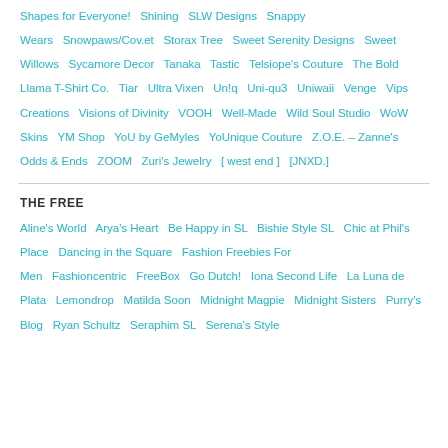Shapes for Everyone! · Shining · SLW Designs · Snappy Wears · Snowpaws/Cov.et · Storax Tree · Sweet Serenity Designs · Sweet Willows · Sycamore Decor · Tanaka · Tastic · Telsiope's Couture · The Bold Llama T-Shirt Co. · Tiar · Ultra Vixen · Un!q · Uni-qu3 · Uniwaii · Venge · Vips Creations · Visions of Divinity · VOOH · Well-Made · Wild Soul Studio · WoW Skins · YM Shop · YoU by GeMyles · YoUnique Couture · Z.O.E. – Zanne's Odds & Ends · ZOOM · Zuri's Jewelry · [ west end ] · [JNXD.]
THE FREE
Aline's World · Arya's Heart · Be Happy in SL · Bishie Style SL · Chic at Phil's Place · Dancing in the Square · Fashion Freebies For Men · Fashioncentric · FreeBox · Go Dutch! · Iona Second Life · La Luna de Plata · Lemondrop · Matilda Soon · Midnight Magpie · Midnight Sisters · Purry's Blog · Ryan Schultz · Seraphim SL · Serena's Style